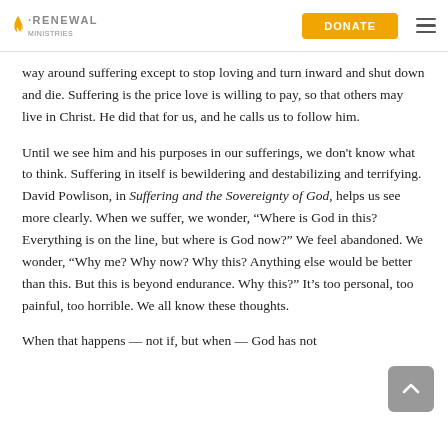RENEWAL | DONATE
way around suffering except to stop loving and turn inward and shut down and die. Suffering is the price love is willing to pay, so that others may live in Christ. He did that for us, and he calls us to follow him.
Until we see him and his purposes in our sufferings, we don't know what to think. Suffering in itself is bewildering and destabilizing and terrifying. David Powlison, in Suffering and the Sovereignty of God, helps us see more clearly. When we suffer, we wonder, “Where is God in this? Everything is on the line, but where is God now?” We feel abandoned. We wonder, “Why me? Why now? Why this? Anything else would be better than this. But this is beyond endurance. Why this?” It’s too personal, too painful, too horrible. We all know these thoughts.
When that happens — not if, but when — God has not…